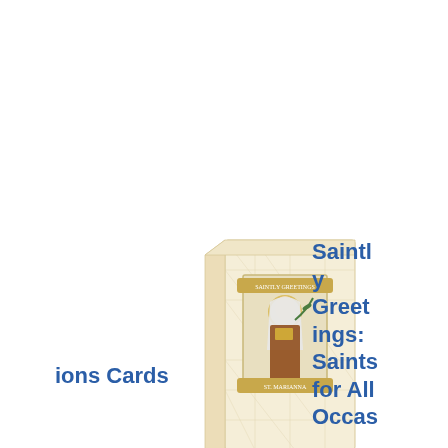[Figure (photo): A box of cards featuring an illustration of a saint on the cover, with a cream/beige geometric patterned background on the box.]
Saintly Greetings: Saints for All Occasions Cards